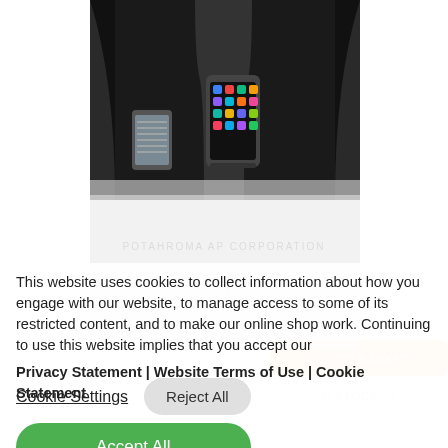[Figure (screenshot): Black and white photo of two smartphones on stands in an architectural setting. Behind it is a partially visible e-commerce product page showing a lamp product and Amazon basket button.]
This website uses cookies to collect information about how you engage with our website, to manage access to some of its restricted content, and to make our online shop work. Continuing to use this website implies that you accept our Privacy Statement | Website Terms of Use | Cookie Statement
Cookie Settings  Reject All
Accept All